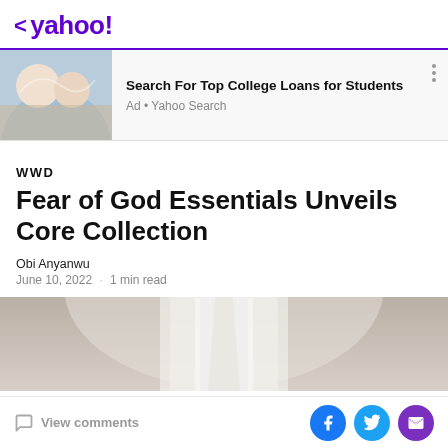< yahoo!
[Figure (infographic): Advertisement banner: photo of two young people laughing outdoors. Text: 'Search For Top College Loans for Students'. Sub-text: 'Ad • Yahoo Search']
WWD
Fear of God Essentials Unveils Core Collection
Obi Anyanwu
June 10, 2022 · 1 min read
[Figure (photo): Partial photo of a person wearing a white oversized top, cropped to show torso area against a warm neutral background]
View comments